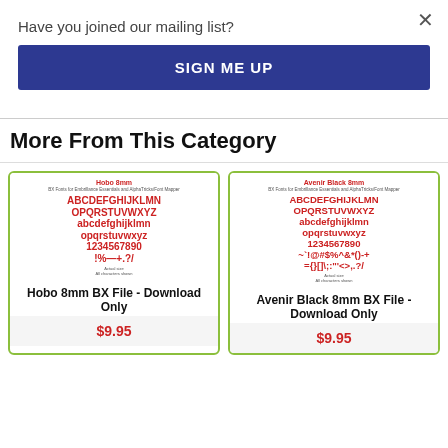×
Have you joined our mailing list?
SIGN ME UP
More From This Category
[Figure (illustration): Font preview card for Hobo 8mm BX File showing red alphabet letters uppercase and lowercase, numbers, and symbols]
Hobo 8mm BX File - Download Only
$9.95
[Figure (illustration): Font preview card for Avenir Black 8mm BX File showing red alphabet letters uppercase and lowercase, numbers, and symbols]
Avenir Black 8mm BX File - Download Only
$9.95